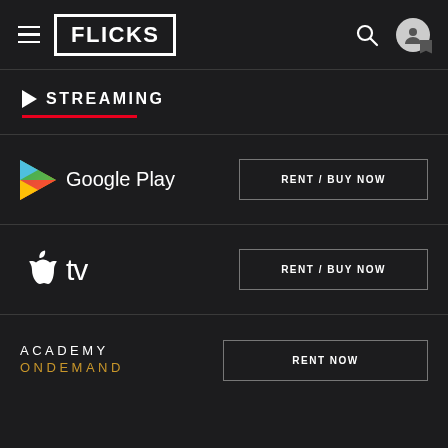FLICKS
STREAMING
[Figure (logo): Google Play logo with triangle play icon in red, yellow, green, blue gradient]
RENT / BUY NOW
[Figure (logo): Apple TV logo with Apple icon and tv text]
RENT / BUY NOW
[Figure (logo): Academy OnDemand logo — ACADEMY in white, ONDEMAND in gold/yellow]
RENT NOW